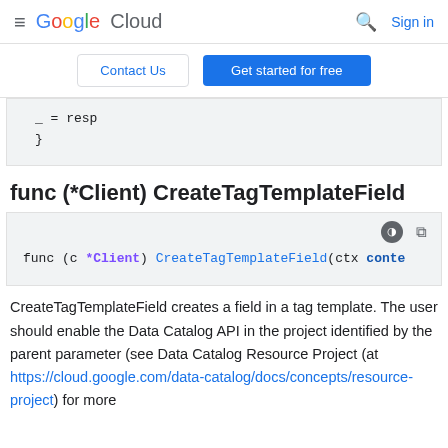Google Cloud  Sign in
Contact Us  Get started for free
_ = resp
}
func (*Client) CreateTagTemplateField
func (c *Client) CreateTagTemplateField(ctx conte
CreateTagTemplateField creates a field in a tag template. The user should enable the Data Catalog API in the project identified by the parent parameter (see Data Catalog Resource Project (at https://cloud.google.com/data-catalog/docs/concepts/resource-project) for more